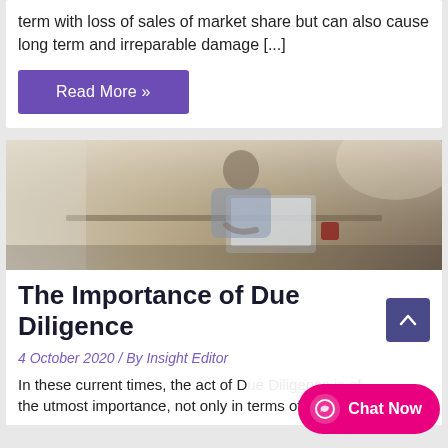term with loss of sales of market share but can also cause long term and irreparable damage [...]
Read More »
[Figure (photo): Woman sitting at a desk writing, with a laptop and red coffee mug, in a warm indoor setting]
The Importance of Due Diligence
4 October 2020 / By Insight Editor
In these current times, the act of Due Diligence is of the utmost importance, not only in terms of "know
Chat Now